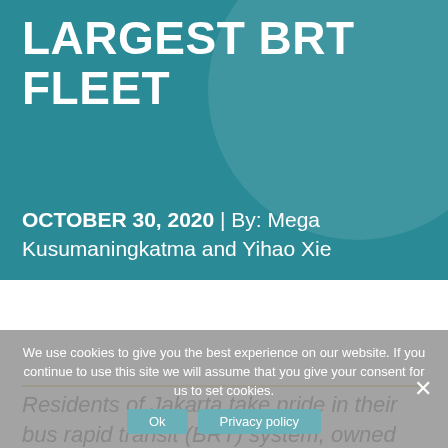LARGEST BRT FLEET
OCTOBER 30, 2020 | By: Mega Kusumaningkatma and Yihao Xie
Residents of Jakarta take pride in their bus rapid transit (BRT) system, owned and operated by Transjakarta. Introduced in
We use cookies to give you the best experience on our website. If you continue to use this site we will assume that you give your consent for us to set cookies.